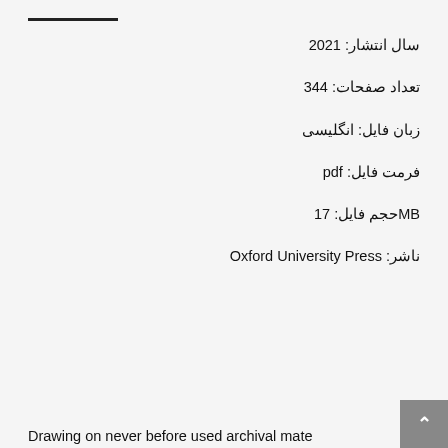سال انتشار: 2021
تعداد صفحات: 344
زبان فایل: انگلیسی
فرمت فایل: pdf
حجم فایل: 17MB
ناشر: Oxford University Press
Drawing on never before used archival mate